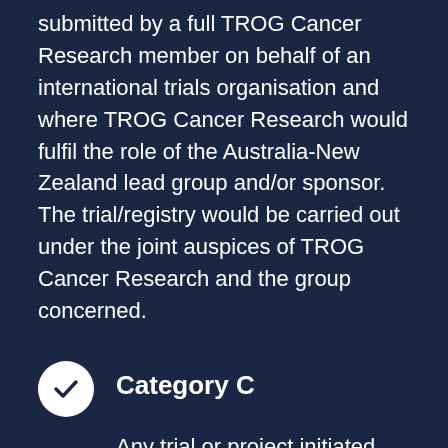submitted by a full TROG Cancer Research member on behalf of an international trials organisation and where TROG Cancer Research would fulfil the role of the Australia-New Zealand lead group and/or sponsor. The trial/registry would be carried out under the joint auspices of TROG Cancer Research and the group concerned.
Category C
Any trial or project initiated and sponsored by another trials organisation and is for collaboration with TROG Cancer Research.